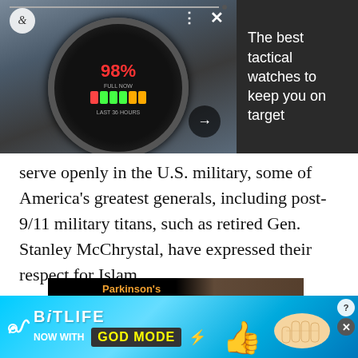[Figure (screenshot): Advertisement showing a tactical smartwatch on a wrist displaying 98% battery, with dark sidebar reading 'The best tactical watches to keep you on target']
serve openly in the U.S. military, some of America's greatest generals, including post-9/11 military titans, such as retired Gen. Stanley McChrystal, have expressed their respect for Islam.
[Figure (screenshot): Advertisement for Parkinson's Progression Markers Initiative on black background with orange logo]
[Figure (screenshot): BitLife game advertisement with 'Now with GOD MODE' text on cyan/blue background with cartoon hands and thumbs up]